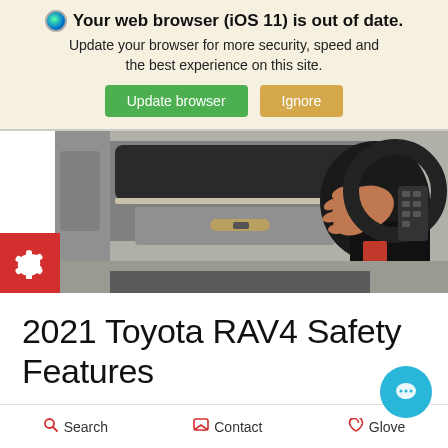🌐 Your web browser (iOS 11) is out of date. Update your browser for more security, speed and the best experience on this site. [Update browser] [Ignore]
[Figure (photo): Interior of a Toyota RAV4 showing the dashboard, glove compartment area, and a hand gripping the steering wheel with controls visible.]
2021 Toyota RAV4 Safety Features
Search   Contact   Glove